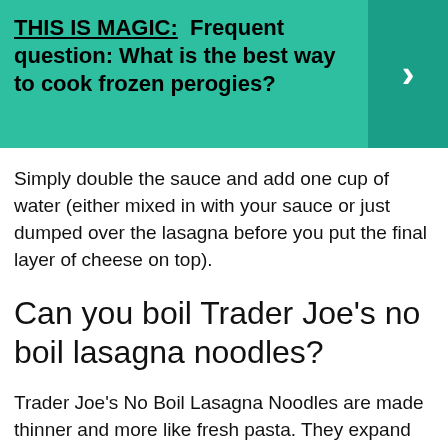[Figure (infographic): Teal banner with bold text: THIS IS MAGIC: Frequent question: What is the best way to cook frozen perogies? with a right-pointing chevron arrow on the right side on a darker teal background.]
Simply double the sauce and add one cup of water (either mixed in with your sauce or just dumped over the lasagna before you put the final layer of cheese on top).
Can you boil Trader Joe's no boil lasagna noodles?
Trader Joe's No Boil Lasagna Noodles are made thinner and more like fresh pasta. They expand and cook perfectly in the oven without any need for boiling, saving you time while resulting in a more fresh-pasta...